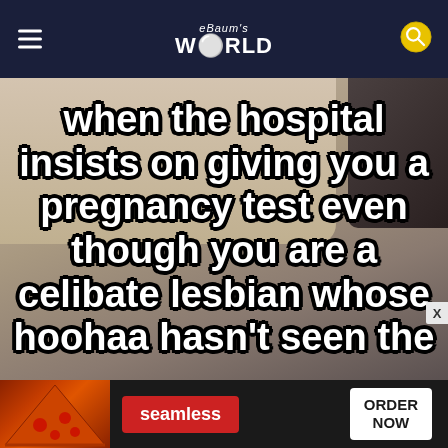eBaum's WORLD
[Figure (screenshot): Screenshot of a social media meme video with room background showing curtains and a dark object, with large white bold text with black outline reading: 'when the hospital insists on giving you a pregnancy test even though you are a celibate lesbian whose hoohaa hasn't seen the']
[Figure (photo): Advertisement banner for Seamless food delivery showing pizza image on left, Seamless logo in red, and ORDER NOW button in white box]